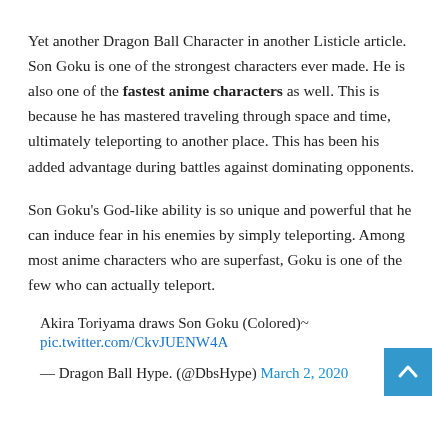Yet another Dragon Ball Character in another Listicle article. Son Goku is one of the strongest characters ever made. He is also one of the fastest anime characters as well. This is because he has mastered traveling through space and time, ultimately teleporting to another place. This has been his added advantage during battles against dominating opponents.
Son Goku's God-like ability is so unique and powerful that he can induce fear in his enemies by simply teleporting. Among most anime characters who are superfast, Goku is one of the few who can actually teleport.
Akira Toriyama draws Son Goku (Colored)~
pic.twitter.com/CkvJUENW4A
— Dragon Ball Hype. (@DbsHype) March 2, 2020